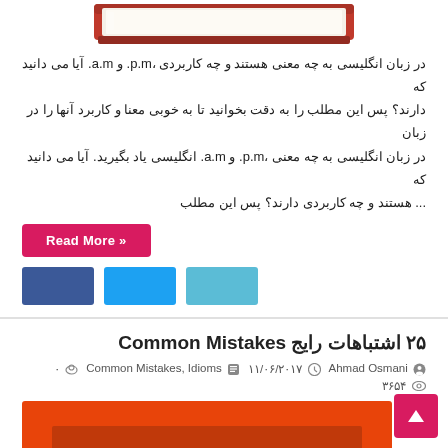[Figure (illustration): Top portion of a book illustration (red cover, partially visible at top of page)]
در زبان انگلیسی به چه معنی هستند و چه کاربردی ،p.m. و a.m. آیا می دانید که دارند؟ پس این مطلب را به دقت بخوانید تا به خوبی معنا و کاربرد آنها را در زبان در زبان انگلیسی به چه معنی ،p.m. و a.m. انگلیسی یاد بگیرید. آیا می دانید که ... هستند و چه کاربردی دارند؟ پس این مطلب
Read More »
[Figure (other): Social share buttons: Facebook (dark blue), Twitter (light blue), Telegram (lighter blue)]
۲۵ اشتباهات رایج Common Mistakes
Ahmad Osmani   ۱۱/۰۶/۲۰۱۷   Common Mistakes, Idioms   ۰   ۳۶۵۴
[Figure (photo): Orange/red article thumbnail image with layered rectangles, partially showing a person's head at the bottom]